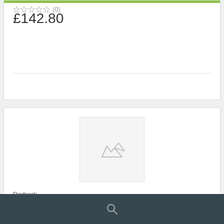£142.80
[Figure (screenshot): Product listing card with image placeholder, brand 'Redrock', title 'ENGINE OIL FILTER', rating and price £19.45]
Redrock
ENGINE OIL FILTER
(0)
£19.45
Search icon in dark footer bar